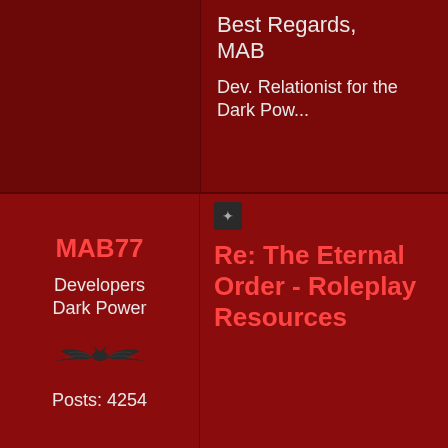Best Regards,
MAB
Dev. Relationist for the Dark Powers
MAB77
Developers Dark Power
[Figure (illustration): Decorative bat wings illustration in dark grey/black]
Posts: 4254
Re: The Eternal Order - Roleplay Resources